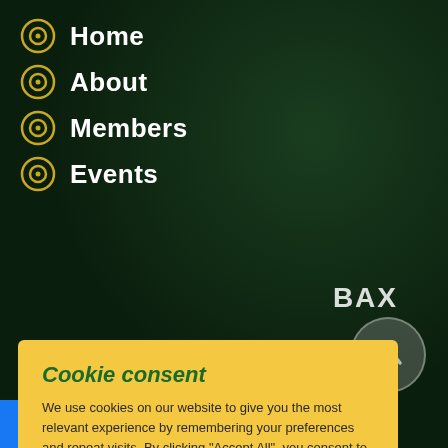Home
About
Members
Events
Cookie consent
We use cookies on our website to give you the most relevant experience by remembering your preferences and repeat visits. By clicking “Accept All”, you consent to the use of ALL the cookies. However, you may visit "Cookie Settings" to provide a controlled consent.
Cookie Settings
Accept All